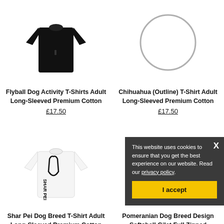[Figure (photo): Black long-sleeved Flyball dog activity t-shirt]
[Figure (illustration): Chihuahua outline circle placeholder image]
Flyball Dog Activity T-Shirts Adult Long-Sleeved Premium Cotton
£17.50
Chihuahua (Outline) T-Shirt Adult Long-Sleeved Premium Cotton
£17.50
[Figure (photo): White long-sleeved Shar Pei dog breed t-shirt]
[Figure (illustration): Pomeranian dog breed softshell gilet circle placeholder]
Shar Pei Dog Breed T-Shirt Adult Long-Sleeved Premium Cotton
Pomeranian Dog Breed Design Softshell Gilet Full Zinned Womens & Mens
This website uses cookies to ensure that you get the best experience on our website. Read our privacy policy.
I accept
X